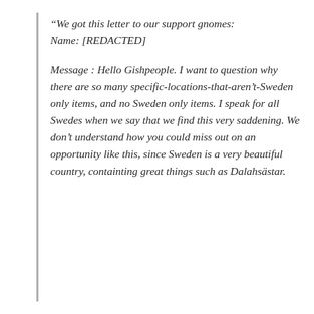“We got this letter to our support gnomes: Name: [REDACTED]

Message : Hello Gishpeople. I want to question why there are so many specific-locations-that-aren’t-Sweden only items, and no Sweden only items. I speak for all Swedes when we say that we find this very saddening. We don’t understand how you could miss out on an opportunity like this, since Sweden is a very beautiful country, containting great things such as Dalahastar.